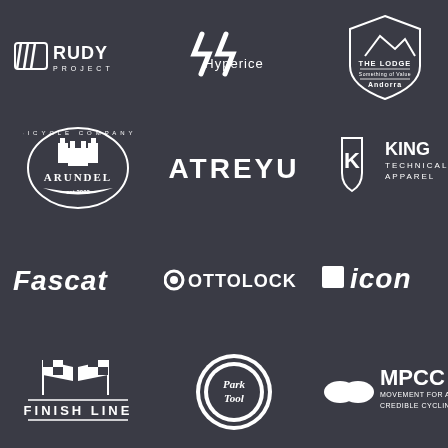[Figure (logo): Rudy Project logo - white text with stripe symbol]
[Figure (logo): Hyperice logo - stylized H/I letters with Hyperice text]
[Figure (logo): The Lodge Andorra shield/mountain logo]
[Figure (logo): Arundel Bicycle Company castle emblem logo]
[Figure (logo): Atreyu text logo]
[Figure (logo): King Technical Apparel shield logo with K]
[Figure (logo): Fascat coaching logo]
[Figure (logo): Ottolock logo with circular O symbol]
[Figure (logo): SCI-CON / SC Icon logo]
[Figure (logo): Finish Line logo with checkered flags]
[Figure (logo): Park Tool logo with gear/sunburst design]
[Figure (logo): MPCC Movement for a Credible Cycling logo]